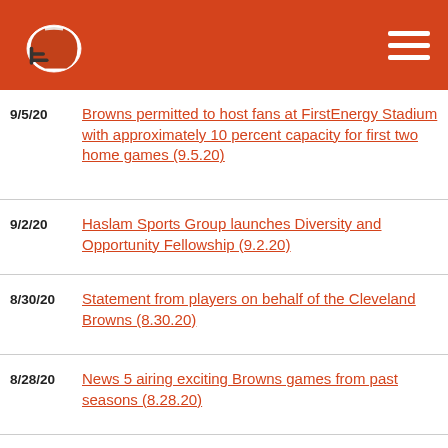Cleveland Browns navigation header with logo and hamburger menu
9/5/20 — Browns permitted to host fans at FirstEnergy Stadium with approximately 10 percent capacity for first two home games (9.5.20)
9/2/20 — Haslam Sports Group launches Diversity and Opportunity Fellowship (9.2.20)
8/30/20 — Statement from players on behalf of the Cleveland Browns (8.30.20)
8/28/20 — News 5 airing exciting Browns games from past seasons (8.28.20)
Cleveland's NBA, NFL & MLB Teams Align to Spread Awareness and Solicit A Call to…